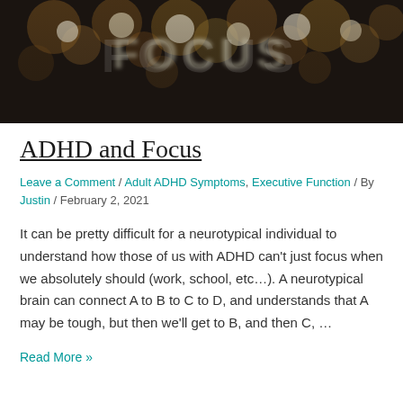[Figure (photo): Dark bokeh background with blurred golden lights spelling 'FOCUS' in large decorative letters]
ADHD and Focus
Leave a Comment / Adult ADHD Symptoms, Executive Function / By Justin / February 2, 2021
It can be pretty difficult for a neurotypical individual to understand how those of us with ADHD can't just focus when we absolutely should (work, school, etc…). A neurotypical brain can connect A to B to C to D, and understands that A may be tough, but then we'll get to B, and then C, …
Read More »